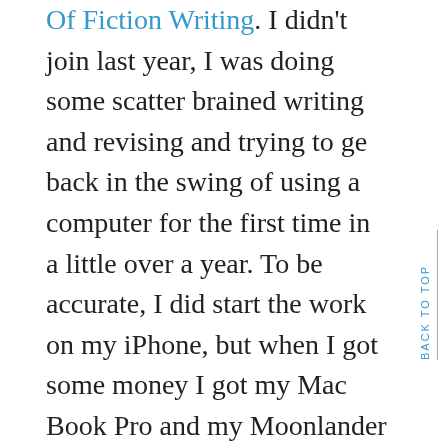Of Fiction Writing. I didn't join last year, I was doing some scatter brained writing and revising and trying to ge back in the swing of using a computer for the first time in a little over a year. To be accurate, I did start the work on my iPhone, but when I got some money I got my Mac Book Pro and my Moonlander mechanical ergonomic keyboard by ErgoDox EZ/ZSA. So a year ago I began the first draft of The Seerstone Trilogy Book 2, the follow up to Spellbinder. Sometimes my brain gets stuck, though. I did all my plotting, was 69K words